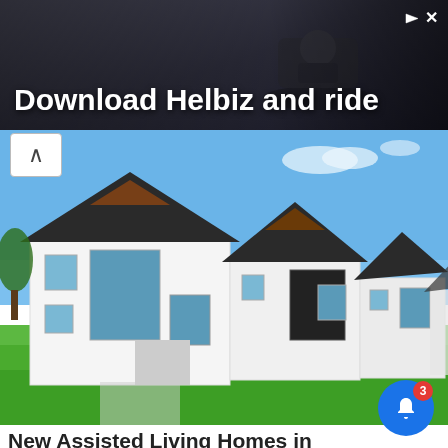[Figure (screenshot): Advertisement banner: 'Download Helbiz and ride' with dark background showing a person on a scooter/bike. Has close/ad indicator icons top right.]
[Figure (photo): Row of modern white houses with dark roofs, wood accents, large windows, and bright green lawn in the foreground under blue sky.]
New Assisted Living Homes in Ashburn (Take A Look At The Prices)
Independent Living | Search Ads | Sponsored
[Figure (photo): Bottom partial photo showing rows of damaged or junked vehicles in what appears to be a yard or lot, overcast sky.]